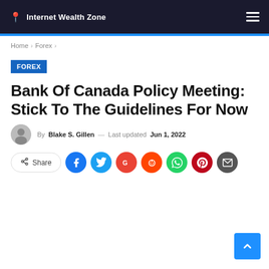Internet Wealth Zone
Home > Forex >
FOREX
Bank Of Canada Policy Meeting: Stick To The Guidelines For Now
By Blake S. Gillen — Last updated Jun 1, 2022
Share